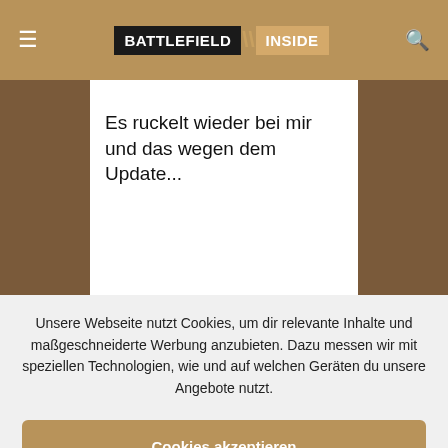BATTLEFIELD INSIDE
Es ruckelt wieder bei mir und das wegen dem Update...
Unsere Webseite nutzt Cookies, um dir relevante Inhalte und maßgeschneiderte Werbung anzubieten. Dazu messen wir mit speziellen Technologien, wie und auf welchen Geräten du unsere Angebote nutzt.
Cookies akzeptieren
Einstellungen
Treiber ohne die Extras